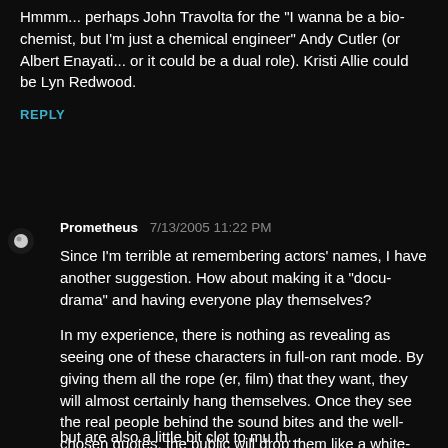Hmmm... perhaps John Travolta for the "I wanna be a bio-chemist, but I'm just a chemical engineer" Andy Cutler (or Albert Enayati... or it could be a dual role). Kristi Allie could be Lyn Redwood.
REPLY
[Figure (photo): Small circular avatar/profile image showing a white orb or moon on dark background]
Prometheus   7/13/2005 11:22 PM
Since I'm terrible at remembering actors' names, I have another suggestion. How about making it a "docu-drama" and having everyone play themselves?
In my experience, there is nothing as revealing as seeing one of these characters in full-on rant mode. By giving them all the rope (er, film) that they want, they will almost certainly hang themselves. Once they see the real people behind the sound bites and the well-chosen quotes, the public will drop them like a white-hot potato.
but are also a little bit clot to mu th...